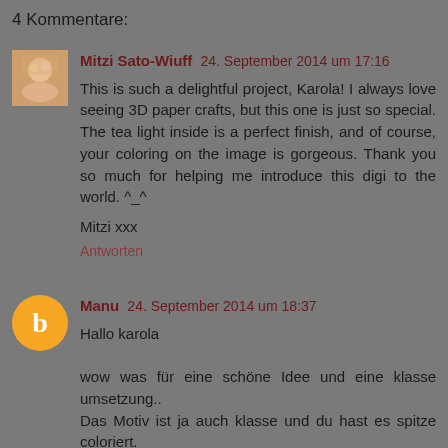4 Kommentare:
Mitzi Sato-Wiuff 24. September 2014 um 17:16
This is such a delightful project, Karola! I always love seeing 3D paper crafts, but this one is just so special. The tea light inside is a perfect finish, and of course, your coloring on the image is gorgeous. Thank you so much for helping me introduce this digi to the world. ^_^

Mitzi xxx

Antworten
Manu 24. September 2014 um 18:37
Hallo karola

wow was für eine schöne Idee und eine klasse umsetzung..
Das Motiv ist ja auch klasse und du hast es spitze coloriert.
Wahnsinn wie du noch so süß die Katzen schnute gemalt hast.